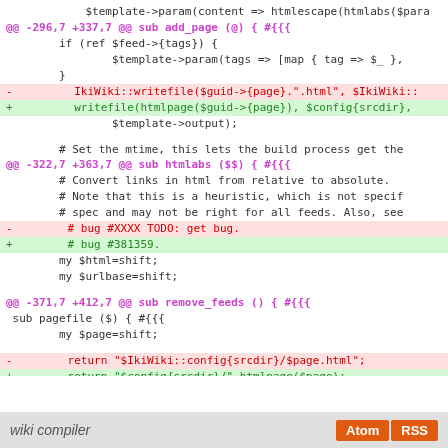[Figure (screenshot): Code diff view showing changes to a Perl wiki compiler script. Three diff hunks are visible: one for sub add_page, one for sub htmlabs, and one for sub remove_feeds/pagefile. Removed lines are highlighted in red, added lines in green. A page footer shows 'wiki compiler' with Atom and RSS buttons.]
wiki compiler  Atom  RSS